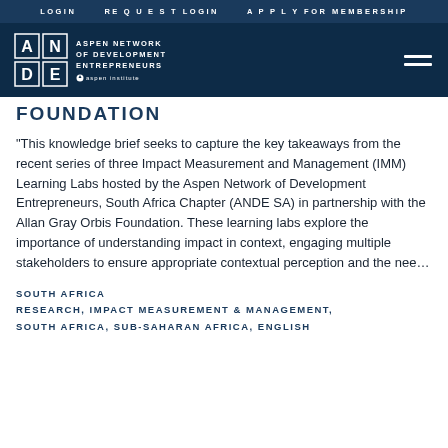LOGIN   REQUEST LOGIN   APPLY FOR MEMBERSHIP
[Figure (logo): ANDE - Aspen Network of Development Entrepreneurs / Aspen Institute logo in white on dark blue background with hamburger menu icon]
FOUNDATION
"This knowledge brief seeks to capture the key takeaways from the recent series of three Impact Measurement and Management (IMM) Learning Labs hosted by the Aspen Network of Development Entrepreneurs, South Africa Chapter (ANDE SA) in partnership with the Allan Gray Orbis Foundation. These learning labs explore the importance of understanding impact in context, engaging multiple stakeholders to ensure appropriate contextual perception and the nee...
SOUTH AFRICA
RESEARCH, IMPACT MEASUREMENT & MANAGEMENT, SOUTH AFRICA, SUB-SAHARAN AFRICA, ENGLISH